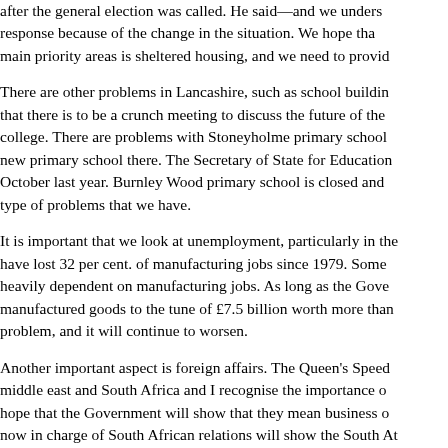after the general election was called. He said—and we understand response because of the change in the situation. We hope that main priority areas is sheltered housing, and we need to provide
There are other problems in Lancashire, such as school buildings that there is to be a crunch meeting to discuss the future of the college. There are problems with Stoneyholme primary school new primary school there. The Secretary of State for Education October last year. Burnley Wood primary school is closed and type of problems that we have.
It is important that we look at unemployment, particularly in the have lost 32 per cent. of manufacturing jobs since 1979. Some heavily dependent on manufacturing jobs. As long as the Government manufactured goods to the tune of £7.5 billion worth more than problem, and it will continue to worsen.
Another important aspect is foreign affairs. The Queen's Speech middle east and South Africa and I recognise the importance of hope that the Government will show that they mean business now in charge of South African relations will show the South Africa